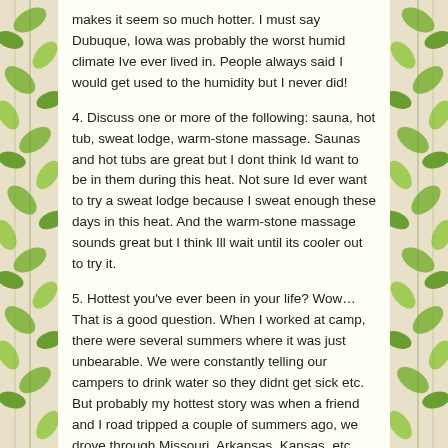makes it seem so much hotter. I must say Dubuque, Iowa was probably the worst humid climate Ive ever lived in. People always said I would get used to the humidity but I never did!
4. Discuss one or more of the following: sauna, hot tub, sweat lodge, warm-stone massage. Saunas and hot tubs are great but I dont think Id want to be in them during this heat. Not sure Id ever want to try a sweat lodge because I sweat enough these days in this heat. And the warm-stone massage sounds great but I think Ill wait until its cooler out to try it.
5. Hottest you've ever been in your life? Wow…That is a good question. When I worked at camp, there were several summers where it was just unbearable. We were constantly telling our campers to drink water so they didnt get sick etc. But probably my hottest story was when a friend and I road tripped a couple of summers ago, we drove through Missouri, Arkansas, Kansas, etc. While visiting my aunt and uncle in Arkansas, it was sooooo hot.